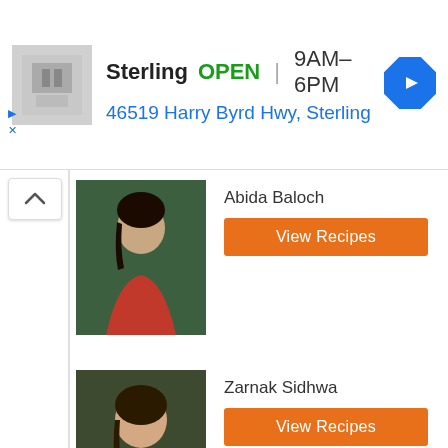[Figure (screenshot): Ad banner for Sterling business showing store image, open status, hours and address]
Sterling  OPEN  9AM–6PM
46519 Harry Byrd Hwy, Sterling
Abida Baloch
[Figure (photo): Photo of Abida Baloch, woman in red top]
View Recipes
Zarnak Sidhwa
[Figure (photo): Photo of Zarnak Sidhwa, woman in white embroidered outfit]
View Recipes
Irfan Wasti
[Figure (photo): Photo of Irfan Wasti, man in dark top with arms crossed]
View Recipes